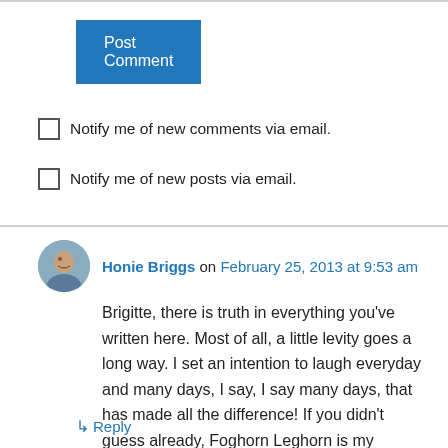Post Comment
Notify me of new comments via email.
Notify me of new posts via email.
Honie Briggs on February 25, 2013 at 9:53 am
Brigitte, there is truth in everything you've written here. Most of all, a little levity goes a long way. I set an intention to laugh everyday and many days, I say, I say many days, that has made all the difference! If you didn't guess already, Foghorn Leghorn is my favorite!
↳ Reply